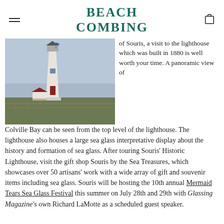BEACH COMBING
[Figure (photo): A white lighthouse with a red door built in 1880, with a small red-roofed outbuilding, green grass in the foreground, and an overcast sky in the background.]
of Souris, a visit to the lighthouse which was built in 1880 is well worth your time. A panoramic view of Colville Bay can be seen from the top level of the lighthouse. The lighthouse also houses a large sea glass interpretative display about the history and formation of sea glass. After touring Souris' Historic Lighthouse, visit the gift shop Souris by the Sea Treasures, which showcases over 50 artisans' work with a wide array of gift and souvenir items including sea glass. Souris will be hosting the 10th annual Mermaid Tears Sea Glass Festival this summer on July 28th and 29th with Glassing Magazine's own Richard LaMotte as a scheduled guest speaker.